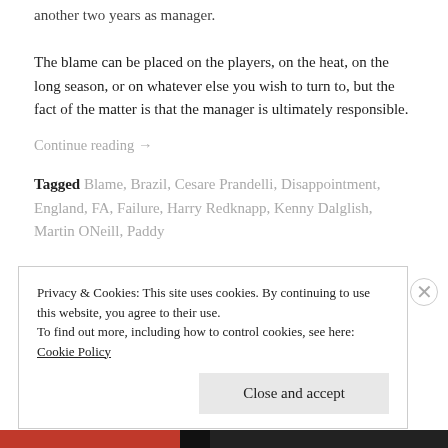another two years as manager.
The blame can be placed on the players, on the heat, on the long season, or on whatever else you wish to turn to, but the fact of the matter is that the manager is ultimately responsible.
Continue reading →
Tagged Blame, Brazil, Cesare Prandelli, Disappointment, England, FA, Failure, Harry Redknapp, Kenny Dalglish, Martin ONeill, Paddy
Privacy & Cookies: This site uses cookies. By continuing to use this website, you agree to their use. To find out more, including how to control cookies, see here: Cookie Policy
Close and accept